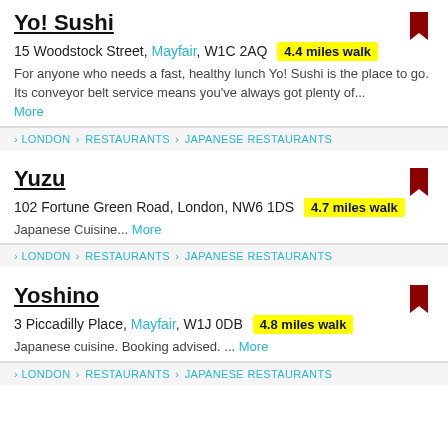Yo! Sushi
15 Woodstock Street, Mayfair, W1C 2AQ  4.4 miles walk
For anyone who needs a fast, healthy lunch Yo! Sushi is the place to go. Its conveyor belt service means you've always got plenty of... More
LONDON > RESTAURANTS > JAPANESE RESTAURANTS
Yuzu
102 Fortune Green Road, London, NW6 1DS  4.7 miles walk
Japanese Cuisine... More
LONDON > RESTAURANTS > JAPANESE RESTAURANTS
Yoshino
3 Piccadilly Place, Mayfair, W1J 0DB  4.8 miles walk
Japanese cuisine. Booking advised. ... More
LONDON > RESTAURANTS > JAPANESE RESTAURANTS